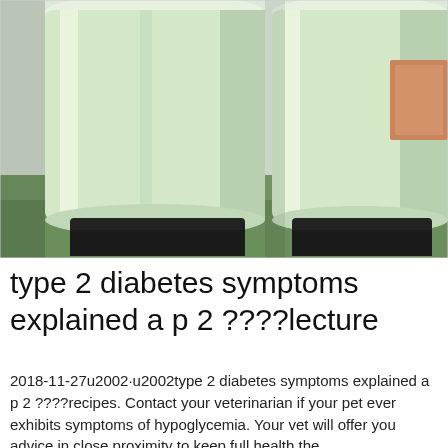[Figure (photo): Two large cylindrical green/white industrial tanks or filtration vessels sitting on black bases/stands, photographed indoors on a green floor with light-colored walls in the background.]
type 2 diabetes symptoms explained a p 2 ????lecture
2018-11-27u2002·u2002type 2 diabetes symptoms explained a p 2 ????recipes. Contact your veterinarian if your pet ever exhibits symptoms of hypoglycemia. Your vet will offer you advice in close proximity to keep full health the